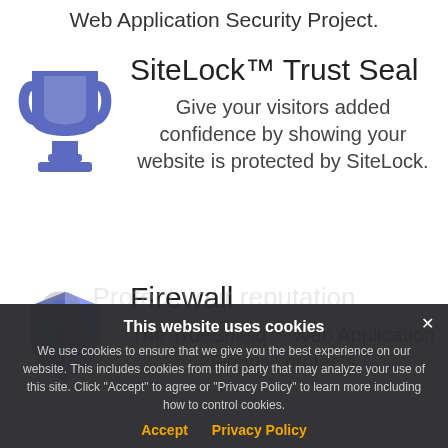Web Application Security Project.
[Figure (illustration): Blue trophy/cup icon representing SiteLock Trust Seal]
SiteLock™ Trust Seal
Give your visitors added confidence by showing your website is protected by SiteLock.
[Figure (illustration): Blue shield icon with half-white, half-blue split representing Firewall]
Firewall
The TrueShield™ Web Application Firewall protects
you... hackers and
Protect your reputation
[Figure (illustration): Cookie consent banner overlay with dark background]
This website uses cookies
We use cookies to ensure that we give you the best experience on our website. This includes cookies from third party that may analyze your use of this site. Click "Accept" to agree or "Privacy Policy" to learn more including how to control cookies.
Accept   Privacy Policy